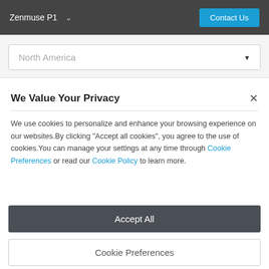Zenmuse P1 | Contact Us
North America
We Value Your Privacy
We use cookies to personalize and enhance your browsing experience on our websites.By clicking "Accept all cookies", you agree to the use of cookies.You can manage your settings at any time through Cookie Preferences or read our Cookie Policy to learn more.
Accept All
Cookie Preferences